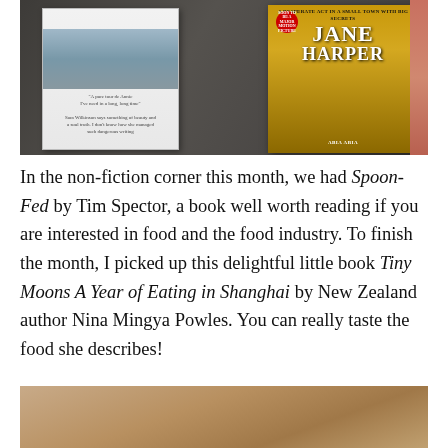[Figure (photo): Photograph of two books lying on a dark textured surface. One book appears to have a coastal landscape image on its cover, and the other is Jane Harper's novel with gold/yellow cover showing the author name in large letters.]
In the non-fiction corner this month, we had Spoon-Fed by Tim Spector, a book well worth reading if you are interested in food and the food industry. To finish the month, I picked up this delightful little book Tiny Moons A Year of Eating in Shanghai by New Zealand author Nina Mingya Powles. You can really taste the food she describes!
[Figure (photo): Partial photograph of a book on a brown/tan tablecloth or textile surface, cropped at the bottom of the page.]